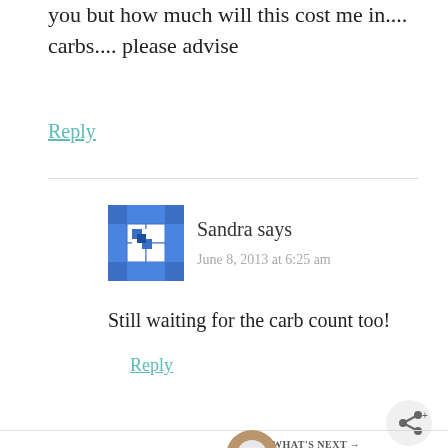you but how much will this cost me in.... carbs.... please advise
Reply
Sandra says
June 8, 2013 at 6:25 am
Still waiting for the carb count too!
Reply
[Figure (other): Share button icon]
WHAT'S NEXT → Blue and Green...
[Figure (photo): Circular thumbnail image of a white cup]
[Figure (other): Grizelda avatar mosaic icon teal/green]
Grizelda says